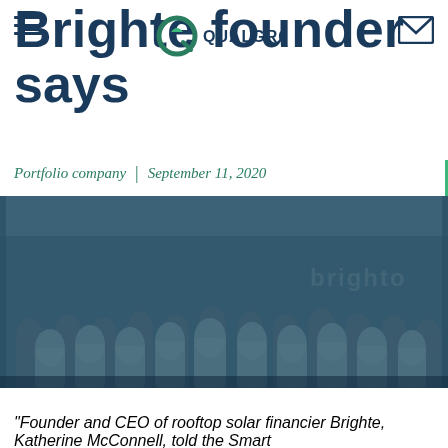Brighte founder says
[Figure (logo): Qualgro logo — circular Q icon in teal/dark green with QUALGRO text]
Portfolio company | September 11, 2020
[Figure (photo): Group photo of Brighte team members standing together in an office with 'brighte' branding on the wall, overlaid with a dark blue-teal tint]
“Founder and CEO of rooftop solar financier Brighte, Katherine McConnell, told the Smart